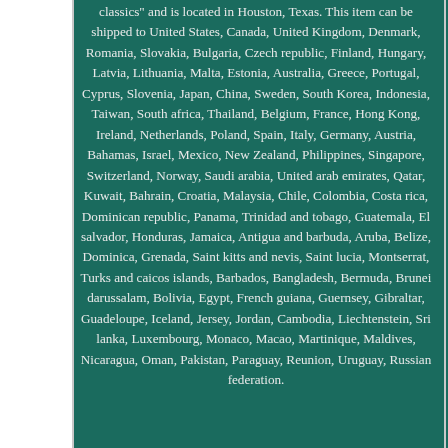classics" and is located in Houston, Texas. This item can be shipped to United States, Canada, United Kingdom, Denmark, Romania, Slovakia, Bulgaria, Czech republic, Finland, Hungary, Latvia, Lithuania, Malta, Estonia, Australia, Greece, Portugal, Cyprus, Slovenia, Japan, China, Sweden, South Korea, Indonesia, Taiwan, South africa, Thailand, Belgium, France, Hong Kong, Ireland, Netherlands, Poland, Spain, Italy, Germany, Austria, Bahamas, Israel, Mexico, New Zealand, Philippines, Singapore, Switzerland, Norway, Saudi arabia, United arab emirates, Qatar, Kuwait, Bahrain, Croatia, Malaysia, Chile, Colombia, Costa rica, Dominican republic, Panama, Trinidad and tobago, Guatemala, El salvador, Honduras, Jamaica, Antigua and barbuda, Aruba, Belize, Dominica, Grenada, Saint kitts and nevis, Saint lucia, Montserrat, Turks and caicos islands, Barbados, Bangladesh, Bermuda, Brunei darussalam, Bolivia, Egypt, French guiana, Guernsey, Gibraltar, Guadeloupe, Iceland, Jersey, Jordan, Cambodia, Liechtenstein, Sri lanka, Luxembourg, Monaco, Macao, Martinique, Maldives, Nicaragua, Oman, Pakistan, Paraguay, Reunion, Uruguay, Russian federation.
Type of Advertising: Sign Theme: Gas & Oil Featured Refinements: Vintage Gas Station Sign Brand: TEXACO
Vintage Signs Advertising